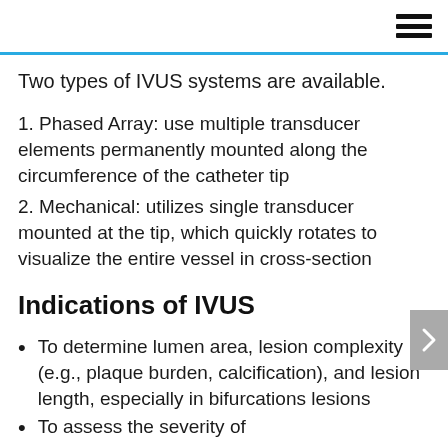Two types of IVUS systems are available.
1. Phased Array: use multiple transducer elements permanently mounted along the circumference of the catheter tip
2. Mechanical: utilizes single transducer mounted at the tip, which quickly rotates to visualize the entire vessel in cross-section
Indications of IVUS
To determine lumen area, lesion complexity (e.g., plaque burden, calcification), and lesion length, especially in bifurcations lesions
To assess the severity of...